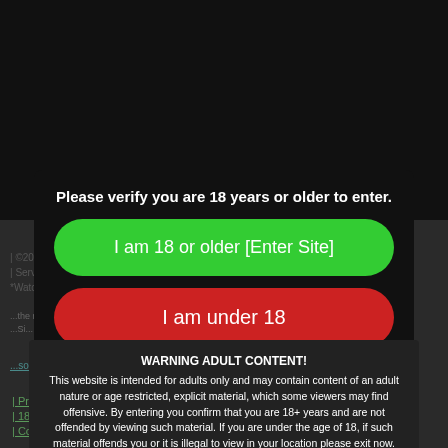Please verify you are 18 years or older to enter.
I am 18 or older [Enter Site]
I am under 18
WARNING ADULT CONTENT!
This website is intended for adults only and may contain content of an adult nature or age restricted, explicit material, which some viewers may find offensive. By entering you confirm that you are 18+ years and are not offended by viewing such material. If you are under the age of 18, if such material offends you or it is illegal to view in your location please exit now.
Cookie settings
ACCEPT
Privacy and Coo...
18 U.S.C. 2257 S...
Contact